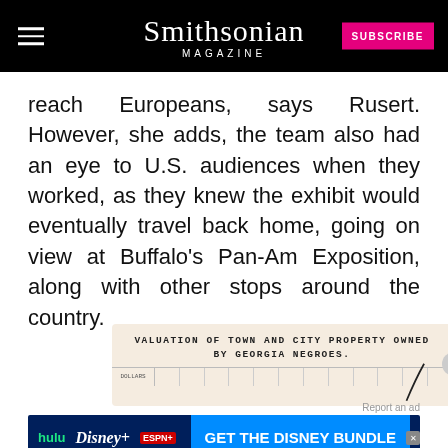Smithsonian MAGAZINE
reach Europeans, says Rusert. However, she adds, the team also had an eye to U.S. audiences when they worked, as they knew the exhibit would eventually travel back home, going on view at Buffalo's Pan-Am Exposition, along with other stops around the country.
[Figure (other): Historical document header reading 'VALUATION OF TOWN AND CITY PROPERTY OWNED BY GEORGIA NEGROES.' with a grid/chart below showing DOLLARS on y-axis and a curved line ascending]
[Figure (other): Advertisement banner for Disney Bundle with Hulu, Disney+, ESPN+. Text: GET THE DISNEY BUNDLE. Incl. Hulu (ad-supported) or Hulu (No Ads). Access content from each service separately. ©2021 Disney and its related entities]